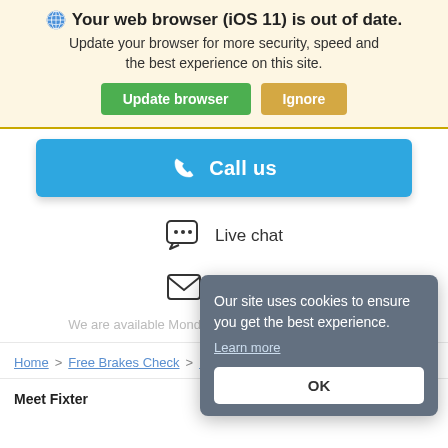🌐 Your web browser (iOS 11) is out of date. Update your browser for more security, speed and the best experience on this site.
Update browser | Ignore
📞 Call us
💬 Live chat
✉ Email us
We are available Monday to Friday, 8:30am to 5:30pm
Home > Free Brakes Check > L...
Meet Fixter
Join Us
Our site uses cookies to ensure you get the best experience.
Learn more
OK